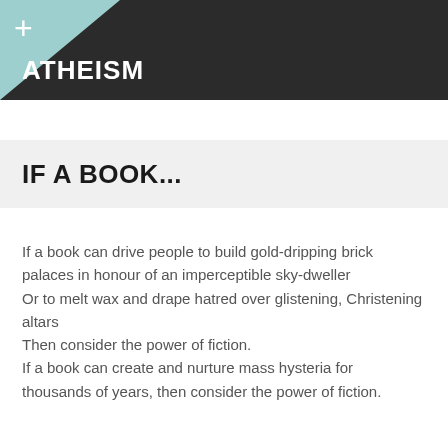ATHEISM
IF A BOOK...
If a book can drive people to build gold-dripping brick palaces in honour of an imperceptible sky-dweller
Or to melt wax and drape hatred over glistening, Christening altars
Then consider the power of fiction.
If a book can create and nurture mass hysteria for thousands of years, then consider the power of fiction.